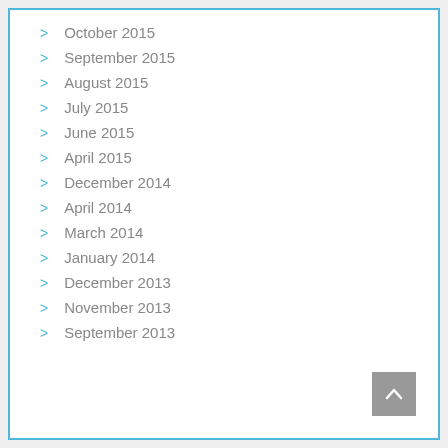October 2015
September 2015
August 2015
July 2015
June 2015
April 2015
December 2014
April 2014
March 2014
January 2014
December 2013
November 2013
September 2013
[Figure (other): Back to top button with upward chevron arrow, gray background]